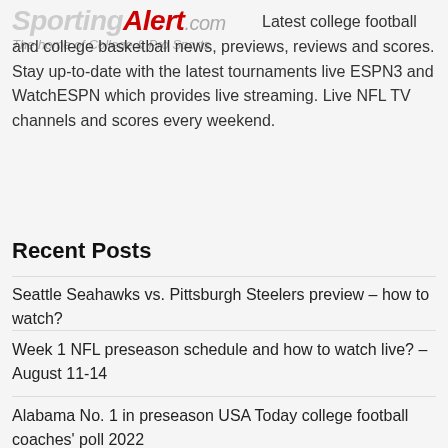[Figure (logo): SportingAlert.com logo with tagline 'The home of College & Pro Sports']
Latest college football and college basketball news, previews, reviews and scores. Stay up-to-date with the latest tournaments live ESPN3 and WatchESPN which provides live streaming. Live NFL TV channels and scores every weekend.
Recent Posts
Seattle Seahawks vs. Pittsburgh Steelers preview – how to watch?
Week 1 NFL preseason schedule and how to watch live? – August 11-14
Alabama No. 1 in preseason USA Today college football coaches' poll 2022